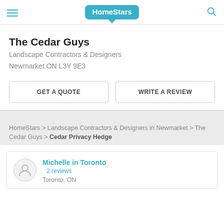HomeStars
The Cedar Guys
Landscape Contractors & Designers
Newmarket ON L3Y 9E3
GET A QUOTE | WRITE A REVIEW
HomeStars > Landscape Contractors & Designers in Newmarket > The Cedar Guys > Cedar Privacy Hedge
Michelle in Toronto
2 reviews
Toronto, ON